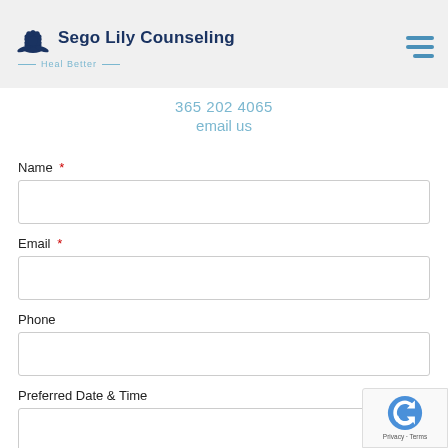[Figure (logo): Sego Lily Counseling logo with lotus flower icon and tagline 'Heal Better']
365 202 4065
email us
Name *
Email *
Phone
Preferred Date & Time